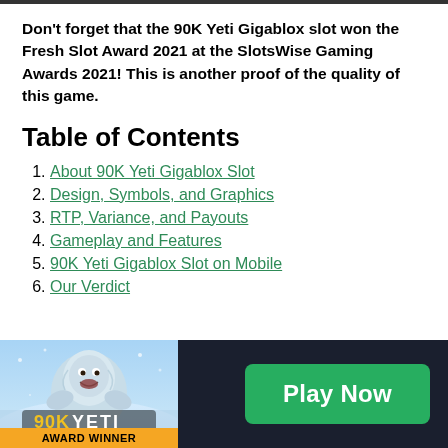Don't forget that the 90K Yeti Gigablox slot won the Fresh Slot Award 2021 at the SlotsWise Gaming Awards 2021! This is another proof of the quality of this game.
Table of Contents
1. About 90K Yeti Gigablox Slot
2. Design, Symbols, and Graphics
3. RTP, Variance, and Payouts
4. Gameplay and Features
5. 90K Yeti Gigablox Slot on Mobile
6. Our Verdict
[Figure (illustration): 90K Yeti Gigablox slot game image with a yeti creature and gold logo, labeled AWARD WINNER at the bottom]
Play Now